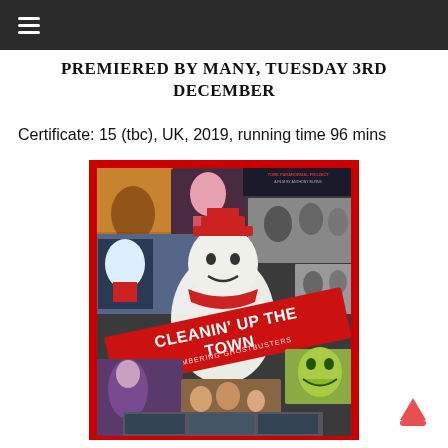☰
PREMIERED BY MANY, TUESDAY 3RD DECEMBER
Certificate: 15 (tbc), UK, 2019, running time 96 mins
[Figure (photo): Movie poster for 'Cleanin' Up The Town: Remembering Ghostbusters' — a collage of behind-the-scenes photos with a large red diagonal banner bearing the film title, featuring the Stay Puft Marshmallow Man ghost logo and various cast/crew photos.]